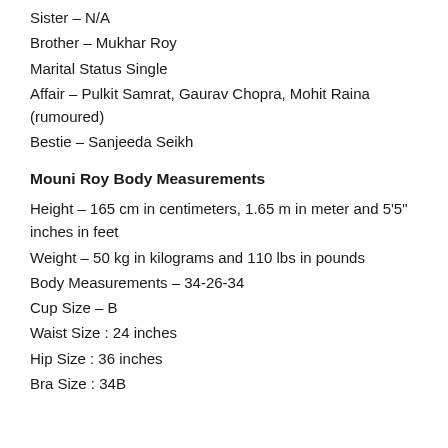Sister – N/A
Brother – Mukhar Roy
Marital Status Single
Affair – Pulkit Samrat, Gaurav Chopra, Mohit Raina (rumoured)
Bestie – Sanjeeda Seikh
Mouni Roy Body Measurements
Height – 165 cm in centimeters, 1.65 m in meter and 5'5" inches in feet
Weight – 50 kg in kilograms and 110 lbs in pounds
Body Measurements – 34-26-34
Cup Size – B
Waist Size : 24 inches
Hip Size : 36 inches
Bra Size : 34B